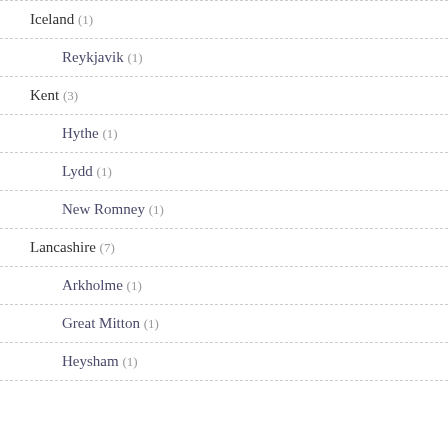Iceland (1)
Reykjavik (1)
Kent (3)
Hythe (1)
Lydd (1)
New Romney (1)
Lancashire (7)
Arkholme (1)
Great Mitton (1)
Heysham (1)